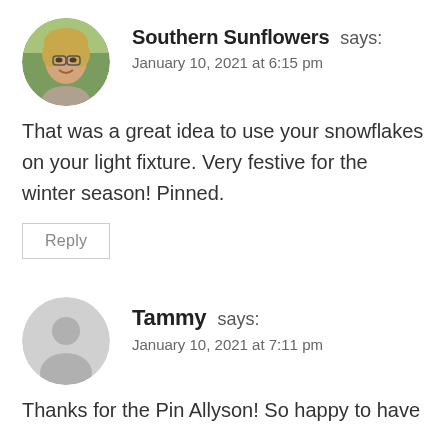[Figure (photo): Circular avatar photo of a woman with blonde hair and glasses, smiling outdoors.]
Southern Sunflowers says:
January 10, 2021 at 6:15 pm
That was a great idea to use your snowflakes on your light fixture. Very festive for the winter season! Pinned.
Reply
[Figure (illustration): Circular grey placeholder avatar icon with generic person silhouette.]
Tammy says:
January 10, 2021 at 7:11 pm
Thanks for the Pin Allyson! So happy to have